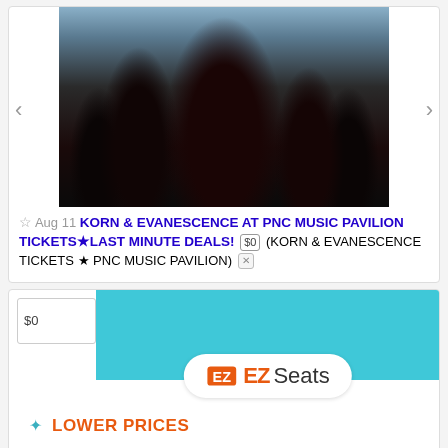[Figure (photo): Band photo of Korn musicians posing together against a light gray-blue background, five members with long hair, one in a dark red ornate jacket]
☆  Aug 11  KORN & EVANESCENCE AT PNC MUSIC PAVILION TICKETS★LAST MINUTE DEALS!  $0  (KORN & EVANESCENCE TICKETS ★ PNC MUSIC PAVILION) ✕
[Figure (infographic): EZ Seats advertisement banner with teal/turquoise background, EZ Seats logo in white pill shape, and three bullet points: LOWER PRICES, SECURE SITE, 100% GUARANTEE in orange bold text]